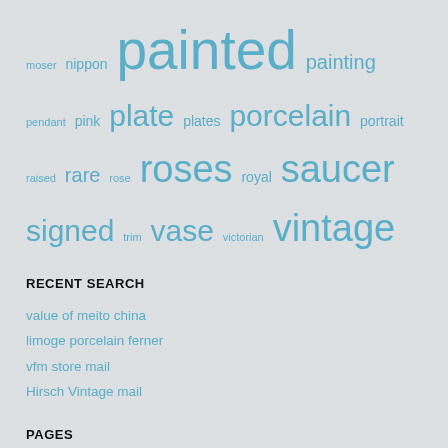moser nippon painted painting pendant pink plate plates porcelain portrait raised rare rose roses royal saucer signed trim vase victorian vintage
RECENT SEARCH
value of meito china
limoge porcelain ferner
vfm store mail
Hirsch Vintage mail
PAGES
Contact Form
Privacy Policies
Terms of Use